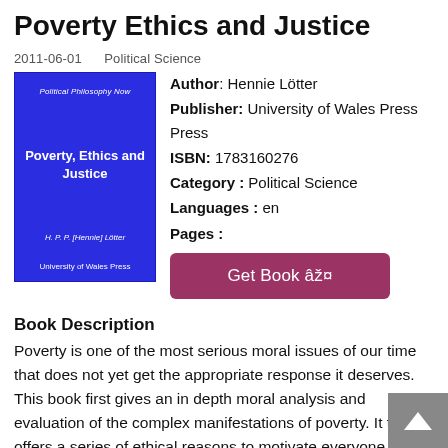Poverty Ethics and Justice
2011-06-01    Political Science
[Figure (illustration): Blue book cover for 'Poverty, Ethics and Justice' by H. P. P. [Hennie] Lötter, published by University of Wales Press. Part of the Political Philosophy Now series.]
Author: Hennie Lötter
Publisher: University of Wales Press
ISBN: 1783160276
Category : Political Science
Languages : en
Pages :
Get Book  🔖
Book Description
Poverty is one of the most serious moral issues of our time that does not yet get the appropriate response it deserves. This book first gives an in depth moral analysis and evaluation of the complex manifestations of poverty. It then offers a series of ethical reasons to motivate everyone to engage in the struggle to eradicate poverty. Social science...